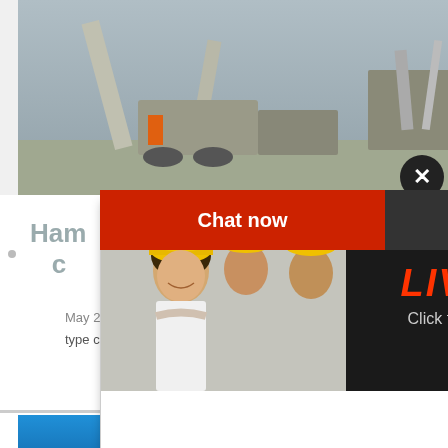[Figure (photo): Industrial machinery/crusher equipment on a construction site, gray and blue tones]
Ham... c...
May 22,
type crus... cement, coal, metallurgic material, cons...
[Figure (photo): Live chat popup overlay with construction workers in yellow hard hats and LIVE CHAT text in red, Click for a Free Consultation, Chat now and Chat later buttons]
[Figure (photo): Customer service representative woman with headset on right side panel]
ave any requests, click here.
Quotation
Enquiry
limingjlmofen@sina.com
[Figure (photo): Blue toned industrial equipment at bottom of page]
CHAT ONLINE